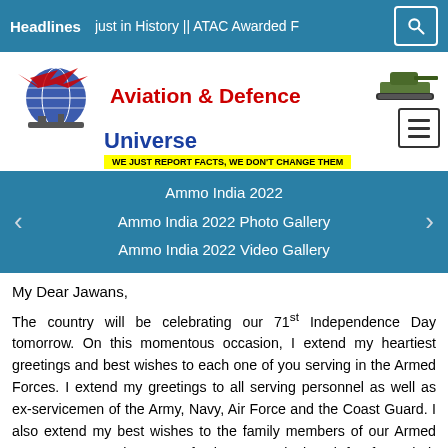Headlines  just in History || ATAC Awarded F
[Figure (logo): Aviation & Defence Universe logo with globe, aircraft, tank, and ship silhouettes. Tagline: WE JUST REPORT FACTS, WE DON'T CHANGE THEM]
Ammo India 2022
Ammo India 2022 Photo Gallery
Ammo India 2022 Video Gallery
My Dear Jawans,
The country will be celebrating our 71st Independence Day tomorrow. On this momentous occasion, I extend my heartiest greetings and best wishes to each one of you serving in the Armed Forces. I extend my greetings to all serving personnel as well as ex-servicemen of the Army, Navy, Air Force and the Coast Guard. I also extend my best wishes to the family members of our Armed Forces personnel, many of whom are deployed far from their homes in not only tough terrain but